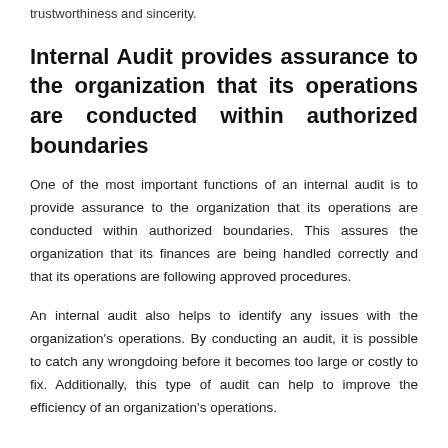trustworthiness and sincerity.
Internal Audit provides assurance to the organization that its operations are conducted within authorized boundaries
One of the most important functions of an internal audit is to provide assurance to the organization that its operations are conducted within authorized boundaries. This assures the organization that its finances are being handled correctly and that its operations are following approved procedures.
An internal audit also helps to identify any issues with the organization's operations. By conducting an audit, it is possible to catch any wrongdoing before it becomes too large or costly to fix. Additionally, this type of audit can help to improve the efficiency of an organization's operations.